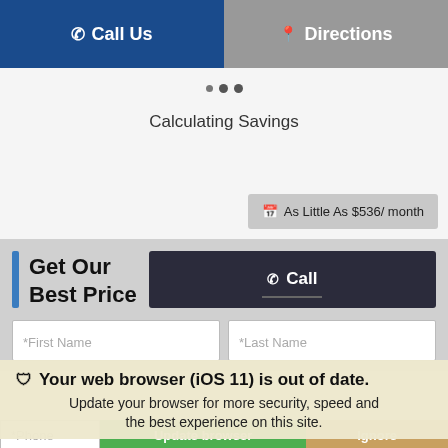Call Us   Directions
Calculating Savings
As Little As $536/ month
Get Our Best Price
Call
*First Name   *Last Name
Your web browser (iOS 11) is out of date. Update your browser for more security, speed and the best experience on this site.
*Phone
Update browser
Ignore